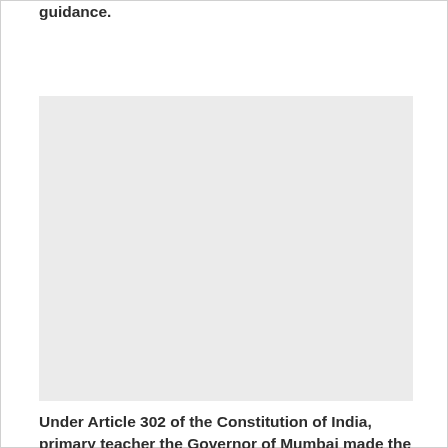guidance.
[Figure (other): Large blank/empty light gray rectangular image placeholder]
Under Article 302 of the Constitution of India, primary teacher the Governor of Mumbai made the Mumbai